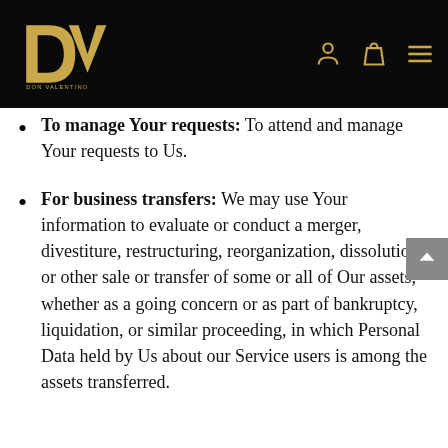Don Valentino — navigation header with logo and icons
To manage Your requests: To attend and manage Your requests to Us.
For business transfers: We may use Your information to evaluate or conduct a merger, divestiture, restructuring, reorganization, dissolution, or other sale or transfer of some or all of Our assets, whether as a going concern or as part of bankruptcy, liquidation, or similar proceeding, in which Personal Data held by Us about our Service users is among the assets transferred.